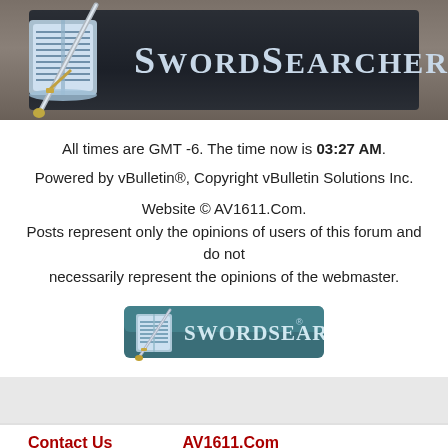[Figure (logo): SwordSearcher logo banner with open book and sword imagery on dark background, large text reading SWORDSEARCHER]
All times are GMT -6. The time now is 03:27 AM.
Powered by vBulletin®, Copyright vBulletin Solutions Inc.
Website © AV1611.Com.
Posts represent only the opinions of users of this forum and do not necessarily represent the opinions of the webmaster.
[Figure (logo): SwordSearcher button logo with book and sword on teal/dark teal background]
Contact Us    AV1611.Com